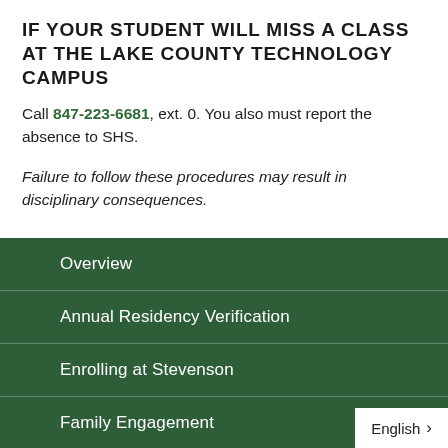IF YOUR STUDENT WILL MISS A CLASS AT THE LAKE COUNTY TECHNOLOGY CAMPUS
Call 847-223-6681, ext. 0. You also must report the absence to SHS.
Failure to follow these procedures may result in disciplinary consequences.
Overview
Annual Residency Verification
Enrolling at Stevenson
Family Engagement
Fundraisers
English >